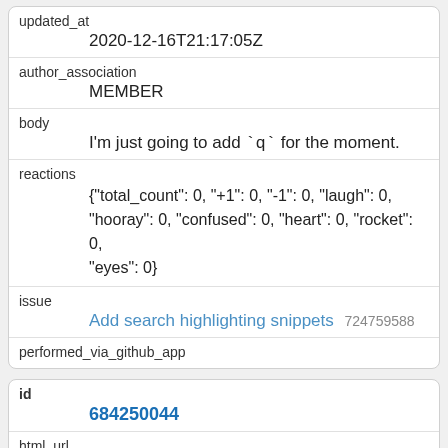updated_at
2020-12-16T21:17:05Z
author_association
MEMBER
body
I'm just going to add `q` for the moment.
reactions
{"total_count": 0, "+1": 0, "-1": 0, "laugh": 0, "hooray": 0, "confused": 0, "heart": 0, "rocket": 0, "eyes": 0}
issue
Add search highlighting snippets 724759588
performed_via_github_app
id
684250044
html_url
https://github.com/dogsheep/dogsheep-beta/issues/3#issuecomment-684250044